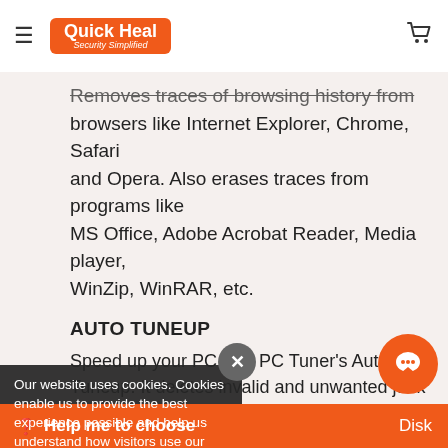Quick Heal — Security Simplified
Removes traces of browsing history from browsers like Internet Explorer, Chrome, Safari and Opera. Also erases traces from programs like MS Office, Adobe Acrobat Reader, Media player, WinZip, WinRAR, etc.
AUTO TUNEUP
Speed up your PC with PC Tuner's Auto Tuneup. It deletes invalid and unwanted junk files, obsolete registry entries, traces of Internet history and of daily used applications.
RESTORE
...it, a... Disk
Our website uses cookies. Cookies enable us to provide the best experience possible and help us understand how visitors use our website. By browsing this website, you agree to our cookie policy.
Help me to choose